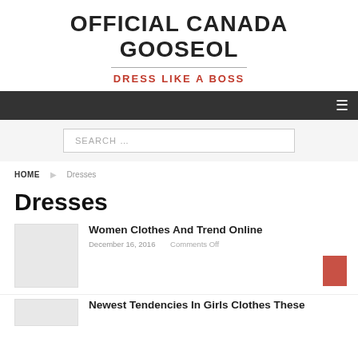OFFICIAL CANADA GOOSEOL
DRESS LIKE A BOSS
SEARCH …
HOME  Dresses
Dresses
Women Clothes And Trend Online
December 16, 2016   Comments Off
Newest Tendencies In Girls Clothes These